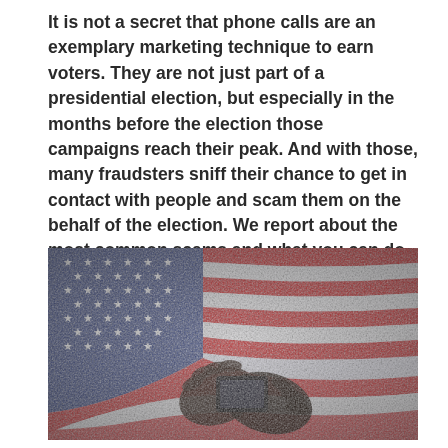It is not a secret that phone calls are an exemplary marketing technique to earn voters. They are not just part of a presidential election, but especially in the months before the election those campaigns reach their peak. And with those, many fraudsters sniff their chance to get in contact with people and scam them on the behalf of the election. We report about the most common scams and what you can do to avoid them.
[Figure (photo): Artistic photo of hands holding a smartphone overlaid on a distressed/grunge-style American flag with red, white, and blue stripes and white stars on blue field.]